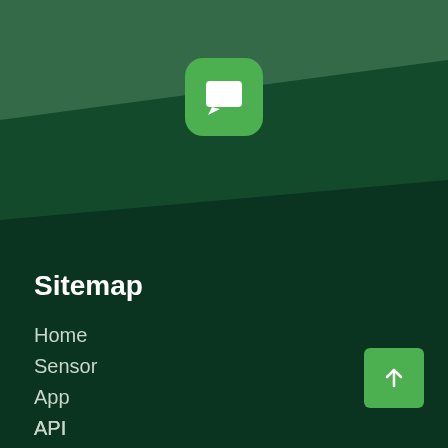[Figure (logo): Green rounded square icon with white speech bubble / message icon]
Sitemap
Home
Sensor
App
API
Customers
[Figure (illustration): Green square button with upward arrow (back to top)]